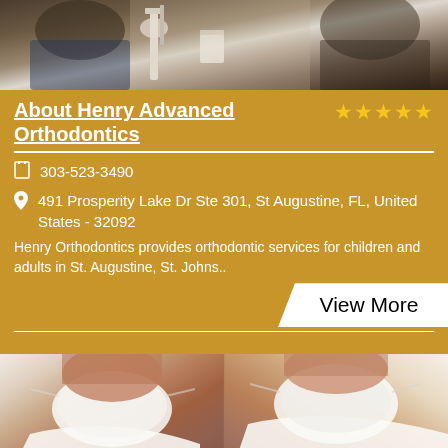[Figure (photo): Dental office scene with patient in chair and equipment visible]
About Henry Advanced Orthodontics ★★★★★
303-523-3490
491 Prosperity Lake Dr Ste 301, St Augustine, FL, United States - 32092
Henry Orthodontics provides orthodontic services for children and adults in St. Augustine, St. Johns..
View More
[Figure (photo): Orthodontist wearing white coat and surgical mask, close-up photo]